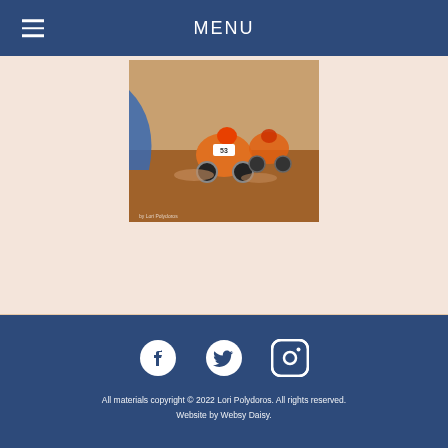MENU
[Figure (photo): Motocross riders racing on dirt track, orange gear, action shot with dust]
[Figure (infographic): Social media icons: Facebook, Twitter, Instagram in white on dark blue footer]
All materials copyright © 2022 Lori Polydoros. All rights reserved. Website by Websy Daisy.